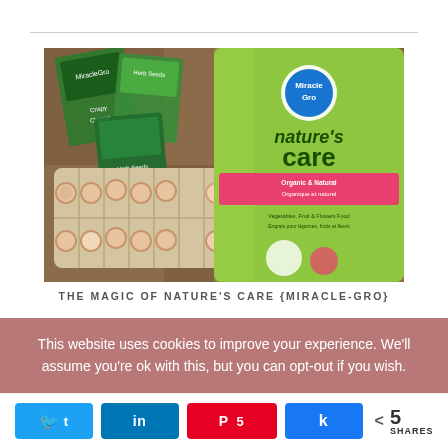[Figure (photo): Overhead photo of seed packets, eggshell halves in a carton used as seed starters, and a green bag of Nature's Care Organic & Natural fertilizer by Miracle-Gro, all laid on a plaid brown fabric.]
THE MAGIC OF NATURE'S CARE {MIRACLE-GRO}
This website uses cookies to improve your experience. We'll assume you're ok with this, but you can opt-out if you wish.